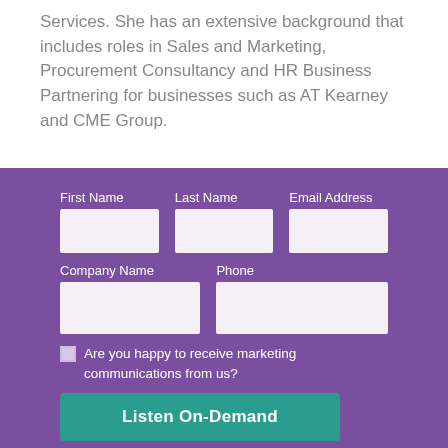Services. She has an extensive background that includes roles in Sales and Marketing, Procurement Consultancy and HR Business Partnering for businesses such as AT Kearney and CME Group.
[Figure (other): A web form on a purple background with fields for First Name, Last Name, Email Address, Company Name, Phone, a marketing communications checkbox, and a teal 'Listen On-Demand' button.]